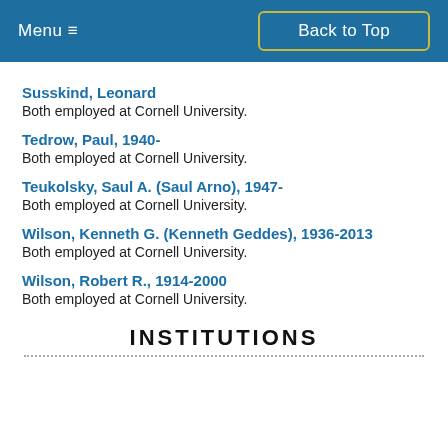Menu ≡   Back to Top
Susskind, Leonard
Both employed at Cornell University.
Tedrow, Paul, 1940-
Both employed at Cornell University.
Teukolsky, Saul A. (Saul Arno), 1947-
Both employed at Cornell University.
Wilson, Kenneth G. (Kenneth Geddes), 1936-2013
Both employed at Cornell University.
Wilson, Robert R., 1914-2000
Both employed at Cornell University.
INSTITUTIONS